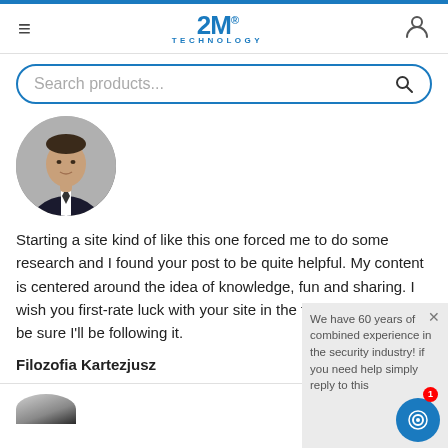2M TECHNOLOGY
Search products...
[Figure (photo): Circular profile photo of a man in a suit and tie]
Starting a site kind of like this one forced me to do some research and I found your post to be quite helpful. My content is centered around the idea of knowledge, fun and sharing. I wish you first-rate luck with your site in the future and you can be sure I'll be following it.
Filozofia Kartezjusz
[Figure (other): Chat support widget showing 'We have 60 years of combined experience in the security industry! If you need help simply reply to this' with a blue chat button and red badge showing 1]